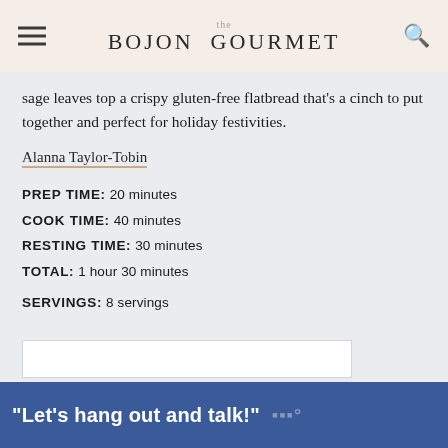the BOJON GOURMET
sage leaves top a crispy gluten-free flatbread that's a cinch to put together and perfect for holiday festivities.
Alanna Taylor-Tobin
PREP TIME: 20 minutes
COOK TIME: 40 minutes
RESTING TIME: 30 minutes
TOTAL: 1 hour 30 minutes
SERVINGS: 8 servings
[Figure (other): Advertisement banner with blue background saying: "Let's hang out and talk!" with a logo mark on the right.]